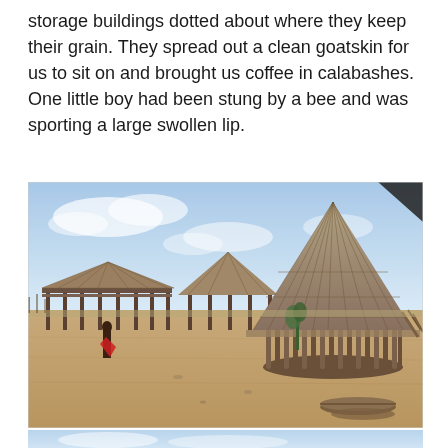storage buildings dotted about where they keep their grain. They spread out a clean goatskin for us to sit on and brought us coffee in calabashes. One little boy had been stung by a bee and was sporting a large swollen lip.
[Figure (photo): Photograph of an African village with thatched-roof huts made of wooden poles, set on dry sandy ground under a bright sky with light clouds. A person carrying something red is visible on the left side. The largest hut has a tall conical thatched roof on the right. Dry logs lie on the ground in the foreground.]